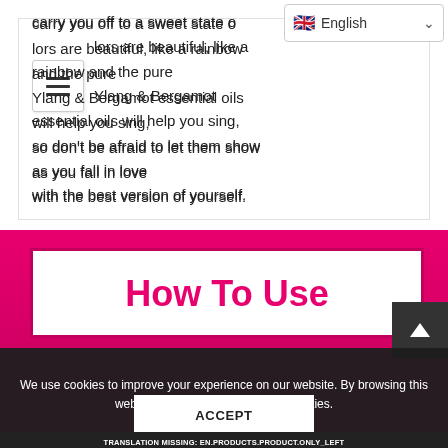[Figure (screenshot): Language selector dropdown showing UK flag and 'English' label with chevron]
[Figure (screenshot): Hamburger menu icon (three horizontal lines)]
carry you off to a sweet state — colors are beautiful, like a rainbow and the pure Ylang & Bergamot essential oils will help you sing, so don't be afraid to let them show as you fall in love with the best version of yourself.
How To Use
We use cookies to improve your experience on our website. By browsing this website, you agree to our use of cookies.
ACCEPT
TRANSLATION MISSING: EN.PRODUCTS.PRODUCT.ONLY_LEFT